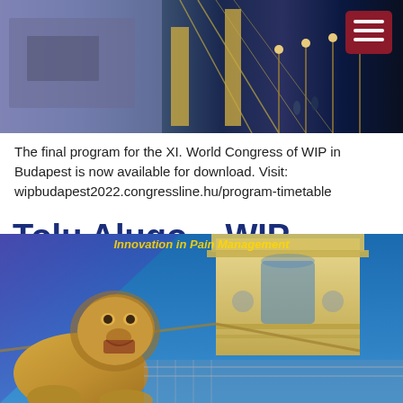[Figure (photo): Night photo of Budapest Chain Bridge with lights, purple/blue tones, with a dark red hamburger menu button in top right corner]
The final program for the XI. World Congress of WIP in Budapest is now available for download. Visit: wipbudapest2022.congressline.hu/program-timetable
Tolu Alugo – WIP Budapest Video
[Figure (photo): Photo of Budapest Chain Bridge lion statue in foreground with bridge tower behind, blue sky, with 'Innovation in Pain Management' text overlay at top in yellow/gold]